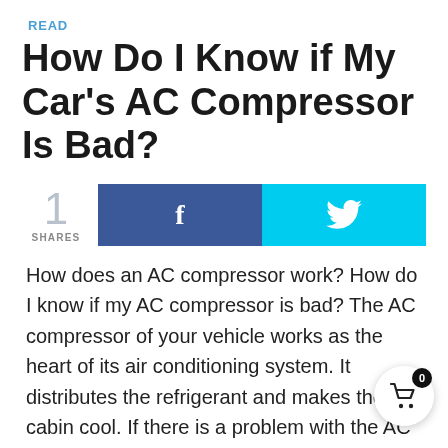READ
How Do I Know if My Car's AC Compressor Is Bad?
1 SHARES
How does an AC compressor work? How do I know if my AC compressor is bad? The AC compressor of your vehicle works as the heart of its air conditioning system. It distributes the refrigerant and makes the cabin cool. If there is a problem with the AC compressor, the efficiency of your car's AC will be compromised. Even if you